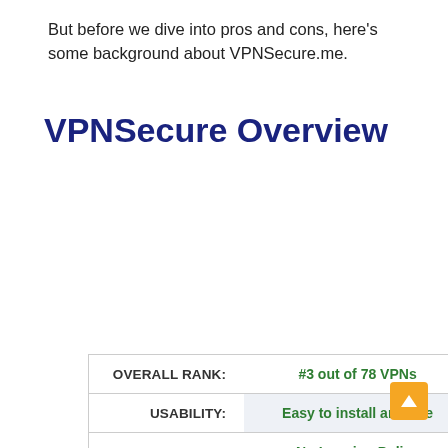But before we dive into pros and cons, here's some background about VPNSecure.me.
VPNSecure Overview
|  |  |
| --- | --- |
| OVERALL RANK: | #3 out of 78 VPNs |
| USABILITY: | Easy to install and use |
| LOG FILES: | No Logging Policy |
| LOCATIONS: | 48 countries, 72 servers |
| SUPPORT: | Live Chat, Good Quality Service |
| TORRENTING: | Limited Torrenting |
| NETFLIX: | Yes 2/5 |
| ENCRYPTION: | Offers 3 types: AES-256, AES- |